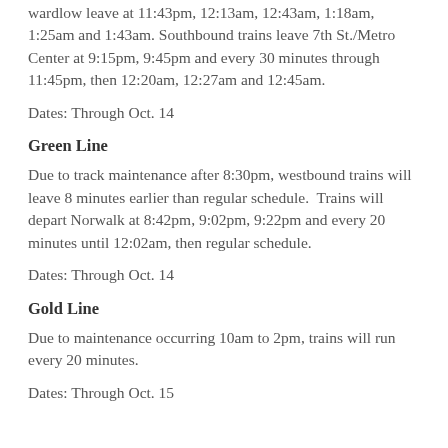wardlow leave at 11:43pm, 12:13am, 12:43am, 1:18am, 1:25am and 1:43am. Southbound trains leave 7th St./Metro Center at 9:15pm, 9:45pm and every 30 minutes through 11:45pm, then 12:20am, 12:27am and 12:45am.
Dates: Through Oct. 14
Green Line
Due to track maintenance after 8:30pm, westbound trains will leave 8 minutes earlier than regular schedule.  Trains will depart Norwalk at 8:42pm, 9:02pm, 9:22pm and every 20 minutes until 12:02am, then regular schedule.
Dates: Through Oct. 14
Gold Line
Due to maintenance occurring 10am to 2pm, trains will run every 20 minutes.
Dates: Through Oct. 15